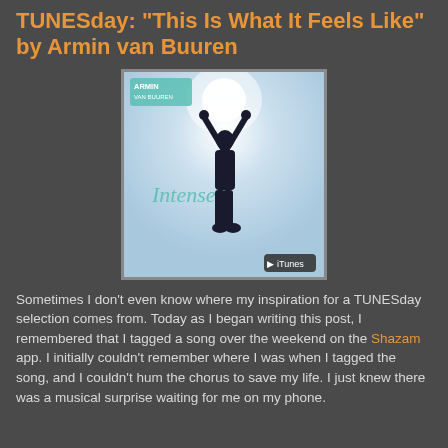TUNESday: "This Is What It Feels Like" by Armin van Buuren
[Figure (illustration): Album cover for Armin van Buuren's 'Intense' album. Shows a silhouette of a person holding their arms up toward a bright light, with the cursive word 'Intense' across the middle. 'ARMIN VAN BUUREN' label in upper left, iTunes badge in lower right.]
Sometimes I don't even know where my inspiration for a TUNESday selection comes from. Today as I began writing this post, I remembered that I tagged a song over the weekend on the Shazam app. I initially couldn't remember where I was when I tagged the song, and I couldn't hum the chorus to save my life. I just knew there was a musical surprise waiting for me on my phone.